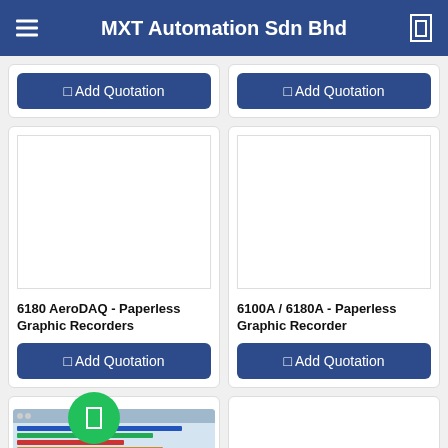MXT Automation Sdn Bhd
Add Quotation
Add Quotation
[Figure (screenshot): Blank product image placeholder for 6180 AeroDAQ - Paperless Graphic Recorders]
6180 AeroDAQ - Paperless Graphic Recorders
Add Quotation
[Figure (screenshot): Blank product image placeholder for 6100A / 6180A - Paperless Graphic Recorder]
6100A / 6180A - Paperless Graphic Recorder
Add Quotation
[Figure (photo): Partial view of an industrial graphic recorder device with screen showing colored trend lines]
[Figure (screenshot): Blank product image placeholder (partial, bottom of page)]